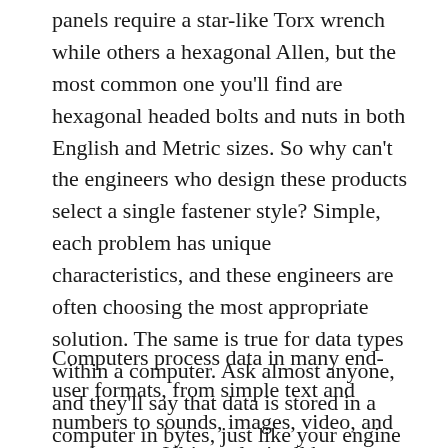panels require a star-like Torx wrench while others a hexagonal Allen, but the most common one you'll find are hexagonal headed bolts and nuts in both English and Metric sizes. So why can't the engineers who design these products select a single fastener style? Simple, each problem has unique characteristics, and these engineers are often choosing the most appropriate solution. The same is true for data types within a computer. Ask almost anyone, and they'll say that data is stored in a computer in bytes, just like your engine has fasteners.
Computers process data in many end-user formats, from simple text and numbers to sounds, images, video, and much more. Ultimately, it all becomes bits organized